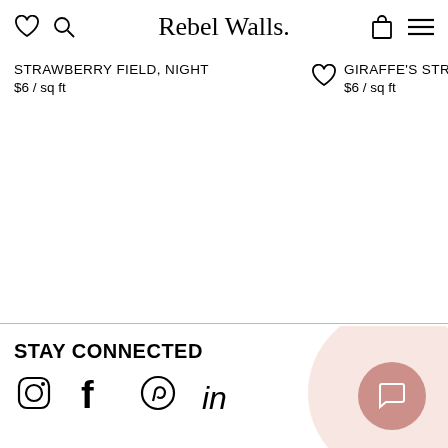Rebel Walls
STRAWBERRY FIELD, NIGHT
$6 / sq ft
GIRAFFE'S STROLL, EM
$6 / sq ft
STAY CONNECTED
[Figure (illustration): Social media icons: Instagram, Facebook, Pinterest, LinkedIn]